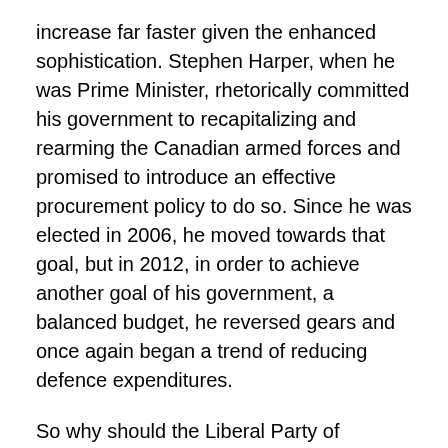increase far faster given the enhanced sophistication. Stephen Harper, when he was Prime Minister, rhetorically committed his government to recapitalizing and rearming the Canadian armed forces and promised to introduce an effective procurement policy to do so. Since he was elected in 2006, he moved towards that goal, but in 2012, in order to achieve another goal of his government, a balanced budget, he reversed gears and once again began a trend of reducing defence expenditures.
So why should the Liberal Party of Canada, now that it has formed the government, be believed when it uses identical promises? Further, if we know that a planned inadequacy is now built into the budget that will affect both our procurement policies as well as the number of armed troops in the armed forces, the results of this built-in deficit will also not occur if all the programmed changes in